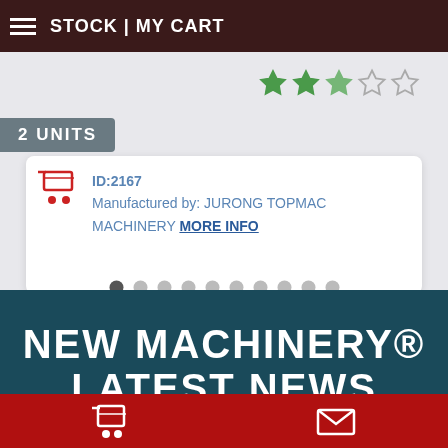STOCK | MY CART
2 UNITS
ID:2167
Manufactured by: JURONG TOPMAC MACHINERY MORE INFO
NEW MACHINERY® LATEST NEWS
2022-08-09
[Figure (screenshot): Lifehack logo strip at bottom of news section]
Cart icon | Envelope icon